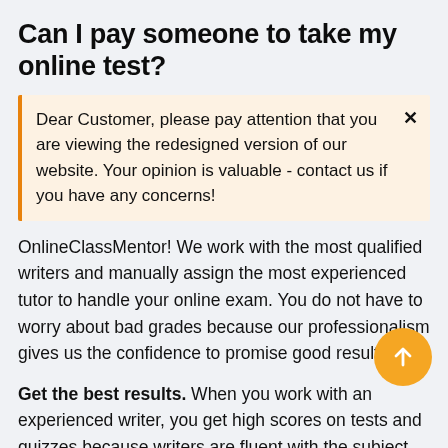Can I pay someone to take my online test?
Dear Customer, please pay attention that you are viewing the redesigned version of our website. Your opinion is valuable - contact us if you have any concerns!
OnlineClassMentor! We work with the most qualified writers and manually assign the most experienced tutor to handle your online exam. You do not have to worry about bad grades because our professionalism gives us the confidence to promise good results!
Get the best results. When you work with an experienced writer, you get high scores on tests and quizzes because writers are fluent with the subject and do not need to Google for the correct answer. When you work with fresh...